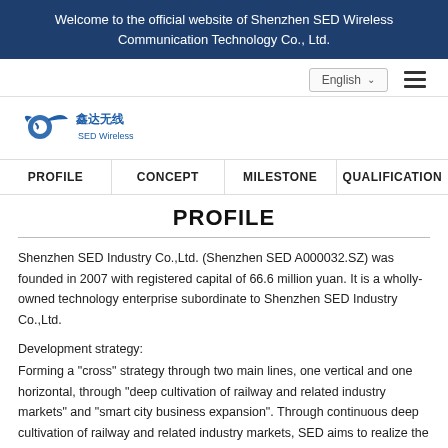Welcome to the official website of Shenzhen SED Wireless Communication Technology Co., Ltd.
[Figure (logo): SED Wireless logo with Chinese characters and bird/wing icon]
English ∨  ≡
PROFILE | CONCEPT | MILESTONE | QUALIFICATION
PROFILE
Shenzhen SED Industry Co.,Ltd. (Shenzhen SED A000032.SZ) was founded in 2007 with registered capital of 66.6 million yuan. It is a wholly-owned technology enterprise subordinate to Shenzhen SED Industry Co.,Ltd.
Development strategy:
Forming a "cross" strategy through two main lines, one vertical and one horizontal, through "deep cultivation of railway and related industry markets" and "smart city business expansion". Through continuous deep cultivation of railway and related industry markets, SED aims to realize the transformation